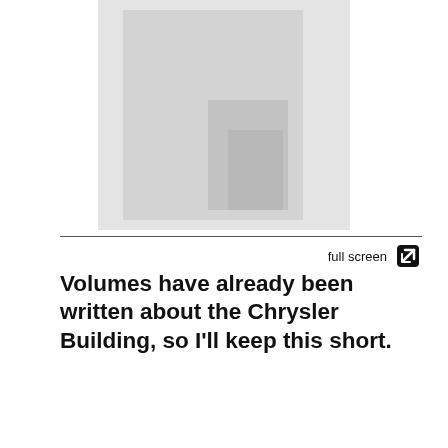[Figure (photo): Partial photo of the Chrysler Building or similar landmark, shown in grayscale, cropped at top]
full screen
Volumes have already been written about the Chrysler Building, so I'll keep this short.
The Chrysler Building is among the very few landmarks that define New York City's skyline. It's the unmistakable DNA marker that – like the Empire State Building and the Statue of Liberty –